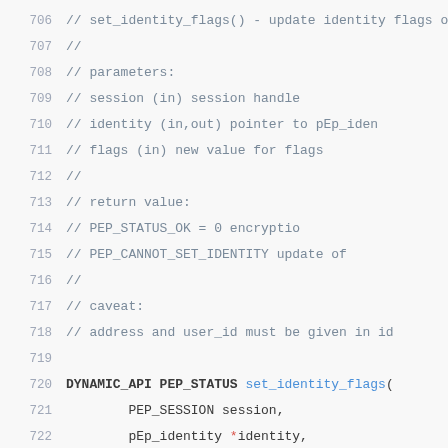[Figure (screenshot): Source code listing showing lines 706-727 of a C/C++ header file defining set_identity_flags() function with comments describing parameters, return values, and caveats, followed by the function signature and a comment for unset_identity_flags().]